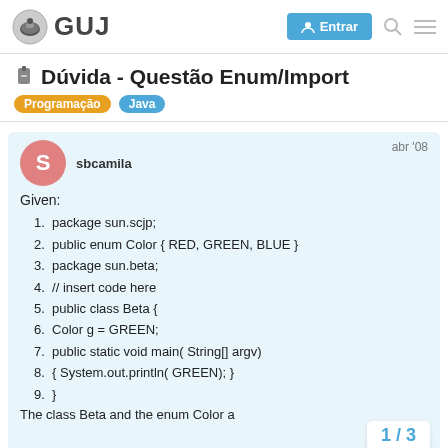GUJ — Entrar
Dúvida - Questão Enum/Import
Programação  Java
sbcamila  abr '08
Given:
1. package sun.scjp;
2. public enum Color { RED, GREEN, BLUE }
3. package sun.beta;
4. // insert code here
5. public class Beta {
6. Color g = GREEN;
7. public static void main( String[] argv)
8. { System.out.println( GREEN); }
9. }
The class Beta and the enum Color a
1 / 3